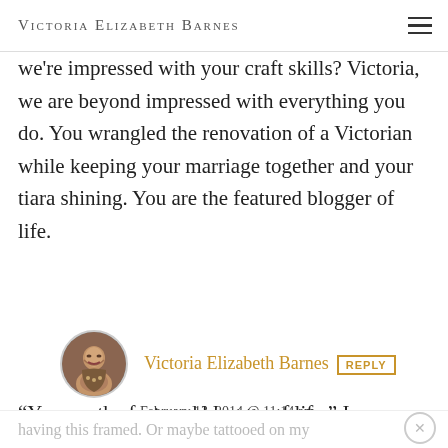Victoria Elizabeth Barnes
we're impressed with your craft skills? Victoria, we are beyond impressed with everything you do. You wrangled the renovation of a Victorian while keeping your marriage together and your tiara shining. You are the featured blogger of life.
Victoria Elizabeth Barnes  REPLY
February 13, 2014 @ 11:14 am
“You are the featured blogger of life.” I am
having this framed. Or maybe tattooed on my